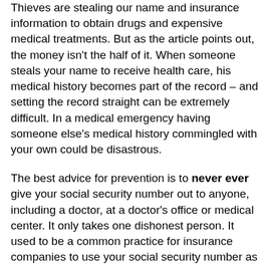Thieves are stealing our name and insurance information to obtain drugs and expensive medical treatments. But as the article points out, the money isn't the half of it. When someone steals your name to receive health care, his medical history becomes part of the record – and setting the record straight can be extremely difficult. In a medical emergency having someone else's medical history commingled with your own could be disastrous.
The best advice for prevention is to never ever give your social security number out to anyone, including a doctor, at a doctor's office or medical center. It only takes one dishonest person. It used to be a common practice for insurance companies to use your social security number as your insurance ID which was printed on your insurance card. Most insurance companies have eliminated this practice. If your insurance company has not, call and request a new ID number. In the mean time only carry your insurance card with you when visiting a doctor for the first time. Also, read the explanation of benefits forms (EOB's) you receive from your insurance companies. I know from personal experience administering my company's medical insurance, many